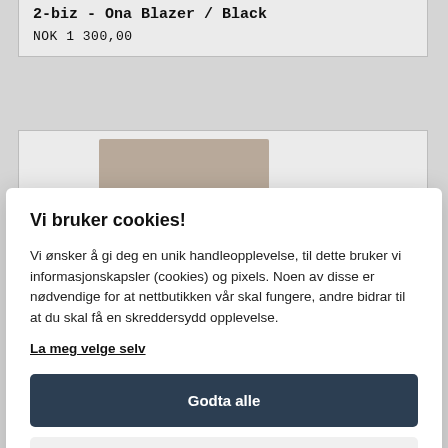2-biz - Ona Blazer / Black
NOK 1 300,00
[Figure (screenshot): Partial product image visible behind cookie modal]
Vi bruker cookies!
Vi ønsker å gi deg en unik handleopplevelse, til dette bruker vi informasjonskapsler (cookies) og pixels. Noen av disse er nødvendige for at nettbutikken vår skal fungere, andre bidrar til at du skal få en skreddersydd opplevelse.
La meg velge selv
Godta alle
Godta kun nødvendige